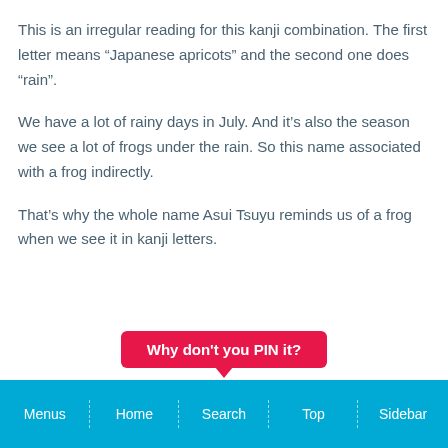This is an irregular reading for this kanji combination. The first letter means “Japanese apricots” and the second one does “rain”.
We have a lot of rainy days in July. And it’s also the season we see a lot of frogs under the rain. So this name associated with a frog indirectly.
That’s why the whole name Asui Tsuyu reminds us of a frog when we see it in kanji letters.
[Figure (other): Pink/red button labeled 'Why don't you PIN it?' with a downward pointing triangle pointer at the bottom center]
Menus  |  Home  |  Search  |  Top  |  Sidebar